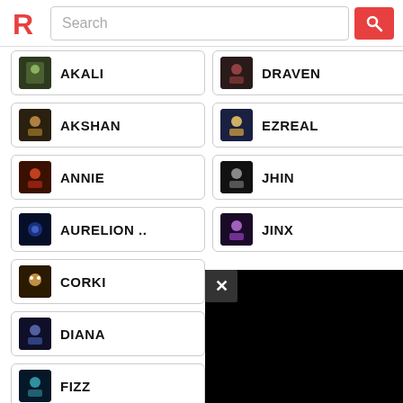Search
AKALI
DRAVEN
AKSHAN
EZREAL
ANNIE
JHIN
AURELION ..
JINX
CORKI
DIANA
FIZZ
GALIO
TRISTANA